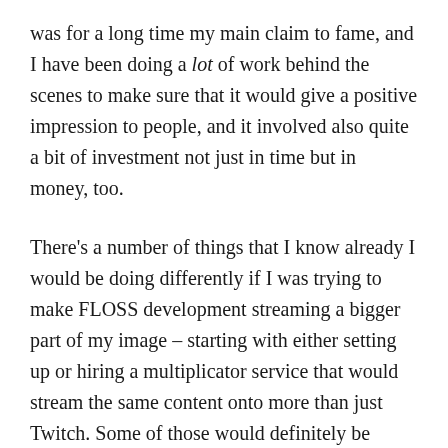was for a long time my main claim to fame, and I have been doing a lot of work behind the scenes to make sure that it would give a positive impression to people, and it involved also quite a bit of investment not just in time but in money, too.
There's a number of things that I know already I would be doing differently if I was trying to make FLOSS development streaming a bigger part of my image – starting with either setting up or hiring a multiplicator service that would stream the same content onto more than just Twitch. Some of those would definitely be easier to pull off nowadays with a full-time job (cash in hand helps), but they would be eating into my family life to a degree I'm no longer finding acceptable.